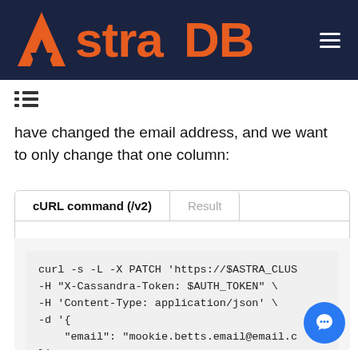Astra DB
have changed the email address, and we want to only change that one column:
cURL command (/v2)	Result
curl -s -L -X PATCH 'https://$ASTRA_CLUS
-H "X-Cassandra-Token: $AUTH_TOKEN" \
-H 'Content-Type: application/json' \
-d '{
    "email": "mookie.betts.email@email.c
}'